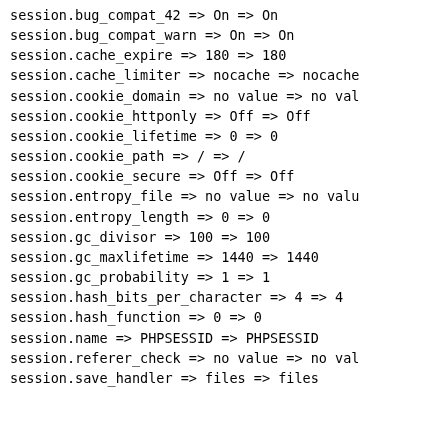session.bug_compat_42 => On => On
session.bug_compat_warn => On => On
session.cache_expire => 180 => 180
session.cache_limiter => nocache => nocache
session.cookie_domain => no value => no val
session.cookie_httponly => Off => Off
session.cookie_lifetime => 0 => 0
session.cookie_path => / => /
session.cookie_secure => Off => Off
session.entropy_file => no value => no valu
session.entropy_length => 0 => 0
session.gc_divisor => 100 => 100
session.gc_maxlifetime => 1440 => 1440
session.gc_probability => 1 => 1
session.hash_bits_per_character => 4 => 4
session.hash_function => 0 => 0
session.name => PHPSESSID => PHPSESSID
session.referer_check => no value => no val
session.save_handler => files => files